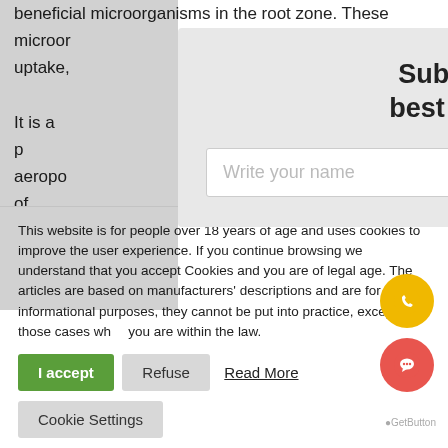beneficial microorganisms in the root zone. These microor... ent uptake,... ots.
It is a p... or aeropo... rop of any typ... he first week of... e young a... The
Subscribe to get the best offers and news!
Write your name
This website is for people over 18 years of age and uses cookies to improve the user experience. If you continue browsing we understand that you accept Cookies and you are of legal age. The articles are based on manufacturers' descriptions and are for informational purposes, they cannot be put into practice, except in those cases where you are within the law.
I accept  Refuse  Read More  Cookie Settings